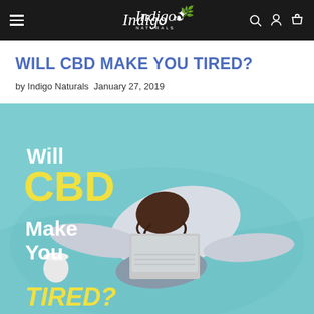Indigo Naturals — navigation bar with hamburger menu, logo, search, account, and cart icons
WILL CBD MAKE YOU TIRED?
by Indigo Naturals  January 27, 2019
[Figure (photo): Hero image showing a person in a white sweater and grey jeans slumped face-down over a laptop on a light teal/turquoise bed. Text overlay reads 'Will CBD Make You TIRED?' with 'CBD' in yellow and 'Will', 'Make You' and 'TIRED?' in white italic.]